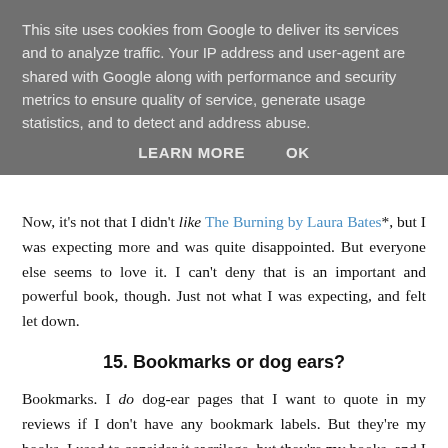This site uses cookies from Google to deliver its services and to analyze traffic. Your IP address and user-agent are shared with Google along with performance and security metrics to ensure quality of service, generate usage statistics, and to detect and address abuse.
LEARN MORE   OK
Now, it's not that I didn't like The Burning by Laura Bates*, but I was expecting more and was quite disappointed. But everyone else seems to love it. I can't deny that is an important and powerful book, though. Just not what I was expecting, and felt let down.
15. Bookmarks or dog ears?
Bookmarks. I do dog-ear pages that I want to quote in my reviews if I don't have any bookmark labels. But they're my books. I used to consider it sacrilege, but they're my books, and I only do a tiny dog-ear. But I do love a bookmark. To be